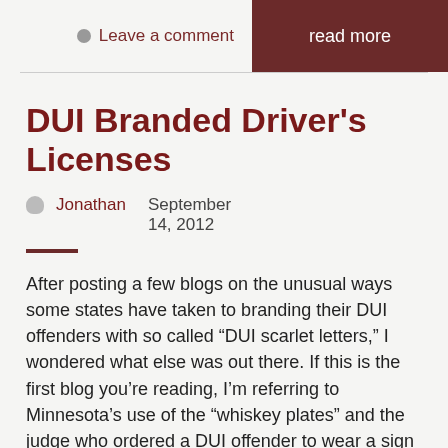Leave a comment
read more
DUI Branded Driver's Licenses
Jonathan   September 14, 2012
After posting a few blogs on the unusual ways some states have taken to branding their DUI offenders with so called “DUI scarlet letters,” I wondered what else was out there. If this is the first blog you’re reading, I’m referring to Minnesota’s use of the “whiskey plates” and the judge who ordered a DUI offender to wear a sign that said he killed someone while driving drunk while standing at the location of the collision. After doing some